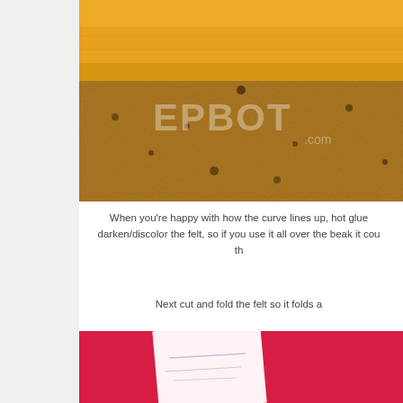[Figure (photo): Yellow/orange felt fabric folded on a granite/stone countertop surface, with EPBOT.com watermark overlay]
When you're happy with how the curve lines up, hot glue darken/discolor the felt, so if you use it all over the beak it cou th
Next cut and fold the felt so it folds a
[Figure (photo): Pink/red felt fabric with a white paper pattern piece on top, partially visible at bottom of page]